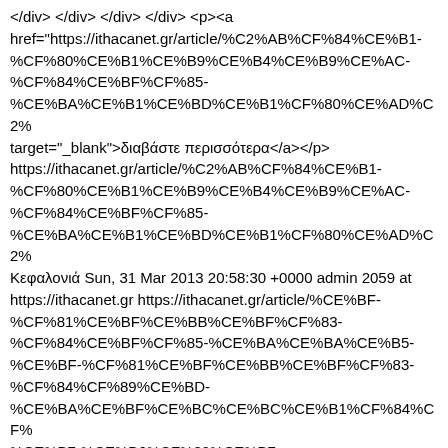</div> </div> </div> </div> <p><a href="https://ithacanet.gr/article/%C2%AB%CF%84%CE%B1-%CF%80%CE%B1%CE%B9%CE%B4%CE%B9%CE%AC-%CF%84%CE%BF%CF%85-%CE%BA%CE%B1%CE%BD%CE%B1%CF%80%CE%AD%C2%» target="_blank">διαβάστε περισσότερα</a></p> https://ithacanet.gr/article/%C2%AB%CF%84%CE%B1-%CF%80%CE%B1%CE%B9%CE%B4%CE%B9%CE%AC-%CF%84%CE%BF%CF%85-%CE%BA%CE%B1%CE%BD%CE%B1%CF%80%CE%AD%C2%» Κεφαλονιά Sun, 31 Mar 2013 20:58:30 +0000 admin 2059 at https://ithacanet.gr https://ithacanet.gr/article/%CE%BF-%CF%81%CE%BF%CE%BB%CE%BF%CF%83-%CF%84%CE%BF%CF%85-%CE%BA%CE%BA%CE%B5-%CE%BF-%CF%81%CE%BF%CE%BB%CE%BF%CF%83-%CF%84%CF%89%CE%BD-%CE%BA%CE%BF%CE%BC%CE%BC%CE%B1%CF%84%CF%8E%CE%BD-%CE%B7-%CE%B6%CF%89%CE%B7-%CE%BC%CE%B1%CF%83 <p class="rtejustify"> <span _fck_bookmark="1" style="display: none;">&nbsp; </span>Υπάρχουν κάποια πράγματα που γίνονται στην Κεφαλονιά, αλλά αφορούν όλη την Ελλάδα και καταδεικνύουν το ρόλο των κομμάτων και το πώς εξουδετερώνουν κάθε αντίδραση του λαού από την οποία υπάρχει κίνδυνος να προκληθεί μαζική αναταραχή και μια ολική αμφισβήτηση του καθεστώτος